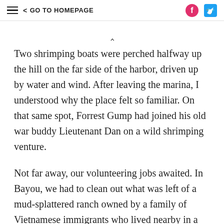≡  < GO TO HOMEPAGE
Two shrimping boats were perched halfway up the hill on the far side of the harbor, driven up by water and wind. After leaving the marina, I understood why the place felt so familiar. On that same spot, Forrest Gump had joined his old war buddy Lieutenant Dan on a wild shrimping venture.
Not far away, our volunteering jobs awaited. In Bayou, we had to clean out what was left of a mud-splattered ranch owned by a family of Vietnamese immigrants who lived nearby in a trailer. Next we traveled to a village in the Mississippi heartland. The